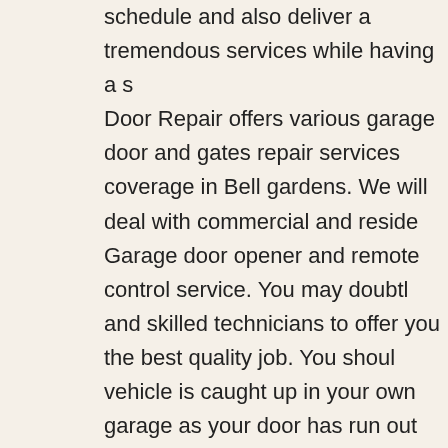schedule and also deliver a tremendous services while having a s Door Repair offers various garage door and gates repair services coverage in Bell gardens. We will deal with commercial and reside Garage door opener and remote control service. You may doubtl and skilled technicians to offer you the best quality job. You shoul vehicle is caught up in your own garage as your door has run out at (562) 200-0857. Whatever garage door replacement unit you n Door Repair is happy to help you. You can actually get in touch wi assure you that our experts are capable of taking care of the job f the fee designed to fit your financial budget. Services: Adjust Gara Opener Repair Door Opener, Bent Garage Door Tracks, Torsion S Broken Garage Door Hinges, Garage Door Off Track Repair, Gara Contemporary Garage Doors, Garege Door Out Of Track, Overhe Emergency Garage Door Repair, Garage Door Torsion Springs, D Devices, Garage Door Accessories, Repair Garage Door, Insulate Garage Door, Garage Door Repair, Garage Door Springs, Fix Gar Door Openers, Opener Sensor Issues, Aluminum Garage Door, C Repair, Garage Door Sensor Repair, Garage Door Remote, Carria